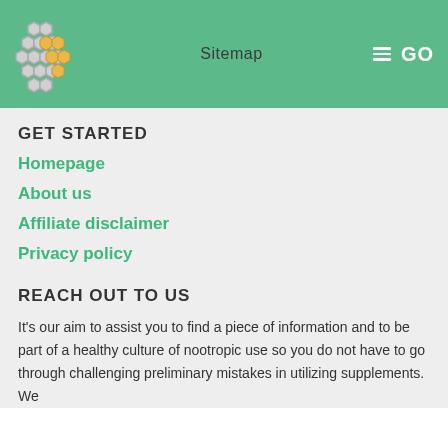Sitemap   GO
GET STARTED
Homepage
About us
Affiliate disclaimer
Privacy policy
REACH OUT TO US
It's our aim to assist you to find a piece of information and to be part of a healthy culture of nootropic use so you do not have to go through challenging preliminary mistakes in utilizing supplements. We